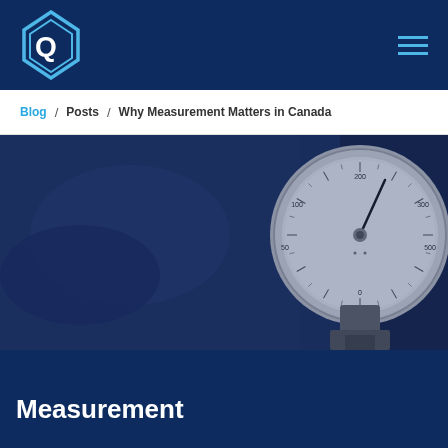Blog / Posts / Why Measurement Matters in Canada
[Figure (photo): Close-up photograph of an industrial pressure gauge with a chrome bezel, white dial face with black markings and needle pointer, set against a blurred dark blue industrial background.]
Measurement